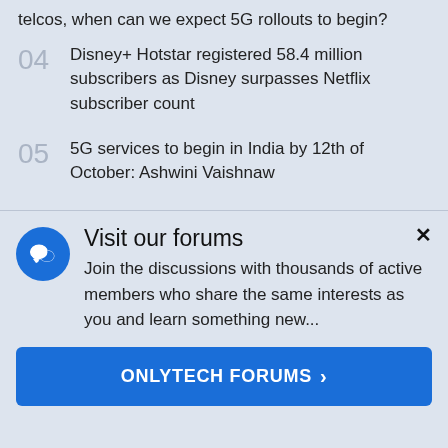telcos, when can we expect 5G rollouts to begin?
04  Disney+ Hotstar registered 58.4 million subscribers as Disney surpasses Netflix subscriber count
05  5G services to begin in India by 12th of October: Ashwini Vaishnaw
[Figure (illustration): Blue circle icon with white speech bubble/chat symbol]
Visit our forums
Join the discussions with thousands of active members who share the same interests as you and learn something new...
ONLYTECH FORUMS  ›